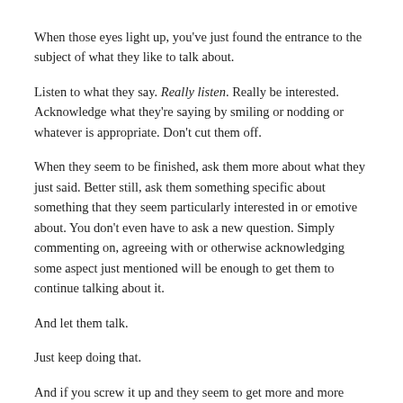When those eyes light up, you've just found the entrance to the subject of what they like to talk about.
Listen to what they say. Really listen. Really be interested. Acknowledge what they're saying by smiling or nodding or whatever is appropriate. Don't cut them off.
When they seem to be finished, ask them more about what they just said. Better still, ask them something specific about something that they seem particularly interested in or emotive about. You don't even have to ask a new question. Simply commenting on, agreeing with or otherwise acknowledging  some aspect just mentioned will be enough to get them to continue talking about it.
And let them talk.
Just keep doing that.
And if you screw it up and they seem to get more and more introverted and less and less communicative, realize that you're the one that screwed it up, not them. That's right. You screwed it up not them.  Whether you